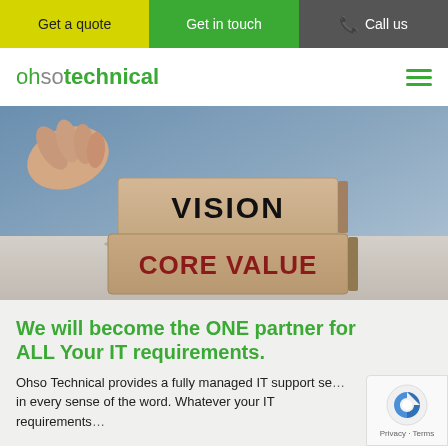Get a quote | Get in touch | Call us
ohsotechnical
[Figure (photo): Wooden blocks stacked on a table with text VISION on the top block and CORE VALUE in red on the bottom block, with a hand visible in the upper left corner.]
We will become the ONE partner for ALL Your IT requirements.
Ohso Technical provides a fully managed IT support se... in every sense of the word. Whatever your IT requirements...